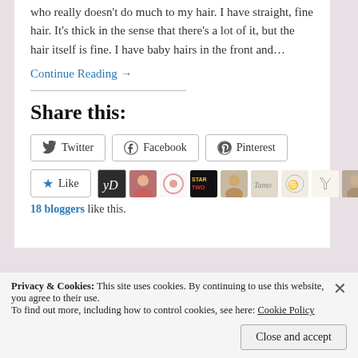who really doesn't do much to my hair. I have straight, fine hair. It's thick in the sense that there's a lot of it, but the hair itself is fine. I have baby hairs in the front and…
Continue Reading →
Share this:
Twitter  Facebook  Pinterest
Like
18 bloggers like this.
Privacy & Cookies: This site uses cookies. By continuing to use this website, you agree to their use.
To find out more, including how to control cookies, see here: Cookie Policy
Close and accept